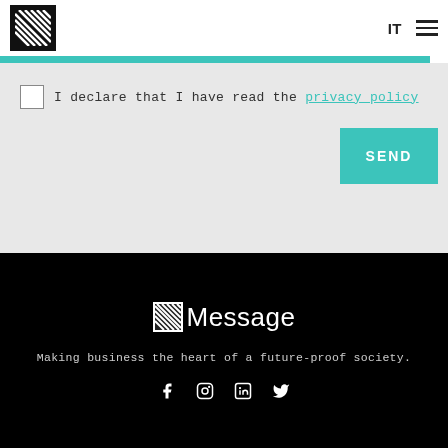[Figure (logo): Message company logo - black square with diagonal white lines pattern, top left header]
IT
[Figure (illustration): Hamburger menu icon (three horizontal lines)]
I declare that I have read the privacy policy
SEND
[Figure (logo): Message company logo in white - black square icon with diagonal lines and 'Message' text in white]
Making business the heart of a future-proof society.
[Figure (illustration): Social media icons row: Facebook, Instagram, LinkedIn, Twitter - all in white]